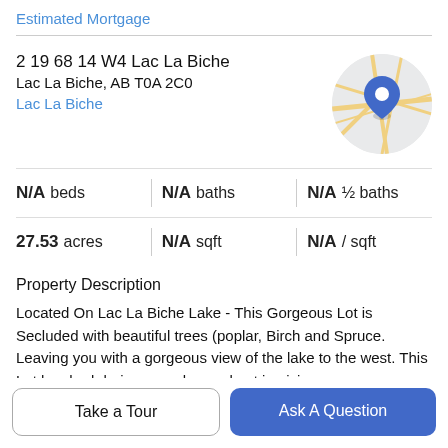Estimated Mortgage
2 19 68 14 W4 Lac La Biche
Lac La Biche, AB T0A 2C0
Lac La Biche
[Figure (map): Circular map thumbnail showing Lac La Biche area with a blue location pin marker and road/street overlay on a light grey background.]
| N/A beds | N/A baths | N/A ½ baths |
| 27.53 acres | N/A sqft | N/A / sqft |
Property Description
Located On Lac La Biche Lake - This Gorgeous Lot is Secluded with beautiful trees (poplar, Birch and Spruce. Leaving you with a gorgeous view of the lake to the west. This Lot has had drainage and a road put in giving you
complete giving you year round road road access to your
Take a Tour
Ask A Question